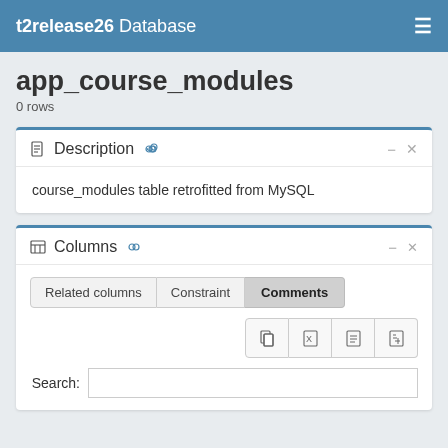t2release26 Database
app_course_modules
0 rows
Description
course_modules table retrofitted from MySQL
Columns
Related columns	Constraint	Comments
Search: